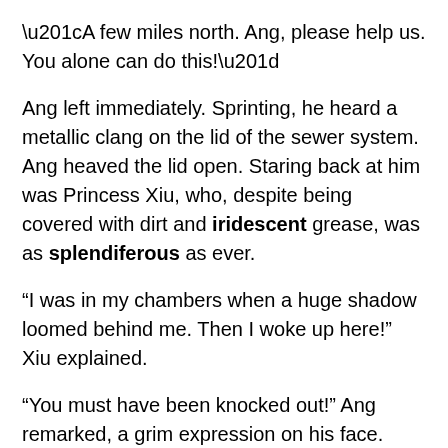“A few miles north. Ang, please help us. You alone can do this!”
Ang left immediately. Sprinting, he heard a metallic clang on the lid of the sewer system. Ang heaved the lid open. Staring back at him was Princess Xiu, who, despite being covered with dirt and iridescent grease, was as splendiferous as ever.
“I was in my chambers when a huge shadow loomed behind me. Then I woke up here!” Xiu explained.
“You must have been knocked out!” Ang remarked, a grim expression on his face. “The perpetrator also stole your pets. He’s probably keeping them in a separate room. Better to split up his hostages. The culprit behind the drought must be using the sewers for his diabolical plan.”